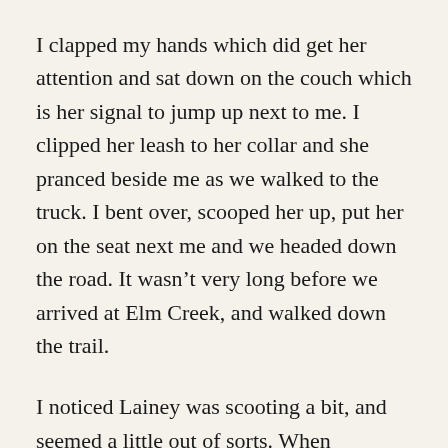I clapped my hands which did get her attention and sat down on the couch which is her signal to jump up next to me. I clipped her leash to her collar and she pranced beside me as we walked to the truck. I bent over, scooped her up, put her on the seat next me and we headed down the road. It wasn't very long before we arrived at Elm Creek, and walked down the trail.
I noticed Lainey was scooting a bit, and seemed a little out of sorts. When someone or something approached us she wanted to stop, smell the air, and try to see what she could see. Her sight also is going which has made her skittish. My heart sank when I